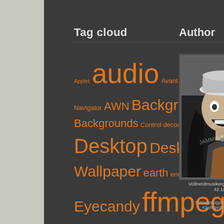Tag cloud
[Figure (infographic): Tag cloud with orange text on dark background containing tags: Applet, audio, Avant Window Navigator, AWN, Background, Backgrounds, Control, decode, Desktop, Desktop Wallpaper, earth, encode, erde, Eyecandy, ffmpeg, gDesklets, gimp, glass, gnome, GTK, Guess, GUI, Icons, imagemagick, Installation, Internet, mother earth, nautilus, oRainge, planet, Prozesse, Python, script, svg, Template, text2speech, Theme, traGtor, Ubuntu, video, Volume]
Author
[Figure (photo): Black and white photo of a person wearing a hat with mouth open, appearing to shout or sing, with long dark hair]
Vollnerdmusikergutmensch a... 42 1/2.
Schlagzeugproduzenten... Kleintiergewerbe...